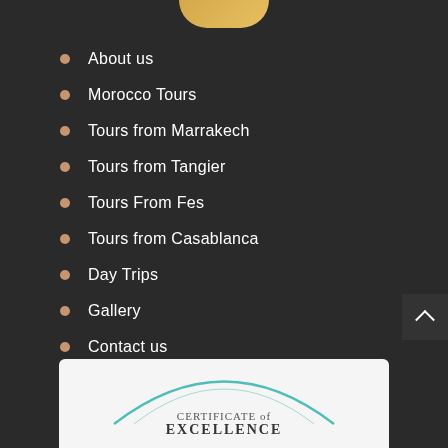[Figure (logo): Partial logo visible at top center, gold/amber colored curved shape]
About us
Morocco Tours
Tours from Marrakech
Tours from Tangier
Tours From Fes
Tours from Casablanca
Day Trips
Gallery
Contact us
[Figure (other): Certificate of Excellence badge, partially visible at bottom, white background with teal arc and text reading CERTIFICATE of EXCELLENCE]